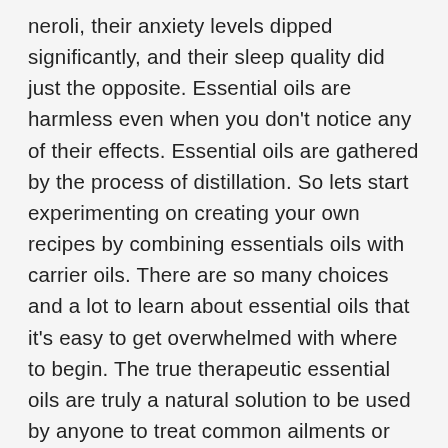neroli, their anxiety levels dipped significantly, and their sleep quality did just the opposite. Essential oils are harmless even when you don't notice any of their effects. Essential oils are gathered by the process of distillation. So lets start experimenting on creating your own recipes by combining essentials oils with carrier oils. There are so many choices and a lot to learn about essential oils that it's easy to get overwhelmed with where to begin. The true therapeutic essential oils are truly a natural solution to be used by anyone to treat common ailments or health problems. Quickly reference different essential oil in our Comparison Chart of therapeutic benefits, methods of application, and safety considerations for 33 essential oils. I love creating and sharing DIY Essential Oil Recipes & Blends. You can use the oils in a diffuser or mix in a massage oil for a soothing massage. List of 30 Herbs With Their Benefits and Uses. This list of essential oils is alphabetical so you can find what you're looking for quickly. And just because essential oils are